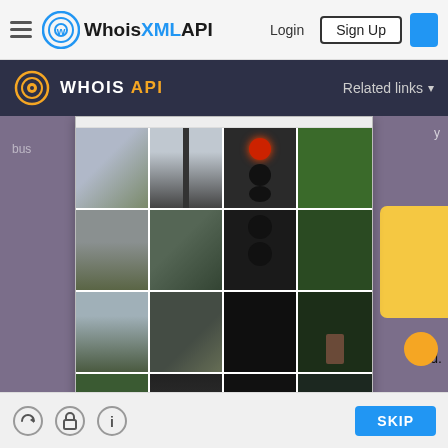[Figure (screenshot): WhoisXMLAPI website navigation bar with hamburger menu, WhoisXML API logo, Login button, Sign Up button, and a blue button on the right]
[Figure (screenshot): Secondary dark navy navigation bar with WHOIS API logo (gold concentric circles icon) and 'Related links' dropdown on the right]
[Figure (screenshot): CAPTCHA image grid overlaid on a purple/lavender background website. The grid is 4x4 tiles showing a street scene with traffic lights and trees. Bottom bar shows refresh, lock, and info icons and a blue SKIP button.]